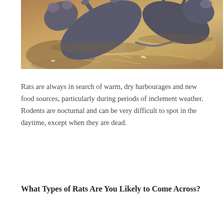[Figure (photo): Photograph of dead rats lying on dry brown soil with scattered straw/hay visible]
Rats are always in search of warm, dry harbourages and new food sources, particularly during periods of inclement weather. Rodents are nocturnal and can be very difficult to spot in the daytime, except when they are dead.
What Types of Rats Are You Likely to Come Across?